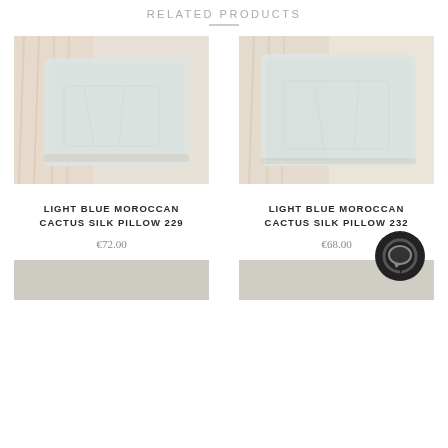RELATED PRODUCTS
[Figure (photo): Light blue Moroccan cactus silk pillow on a macrame or rattan background, product image 229]
LIGHT BLUE MOROCCAN CACTUS SILK PILLOW 229
€72.00
[Figure (photo): Light blue Moroccan cactus silk pillow on a macrame or rattan background, product image 232]
LIGHT BLUE MOROCCAN CACTUS SILK PILLOW 232
€68.00
[Figure (photo): Bottom left product thumbnail, light taupe/grey pillow]
[Figure (photo): Bottom right product thumbnail, light taupe/grey pillow]
[Figure (other): Chat icon, dark circular button in bottom right area]